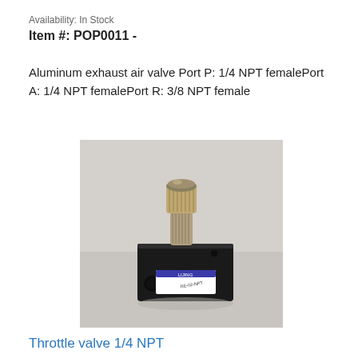Availability: In Stock
Item #: POP0011 -
Aluminum exhaust air valve Port P: 1/4 NPT femalePort A: 1/4 NPT femalePort R: 3/8 NPT female
[Figure (photo): Photo of an aluminum exhaust air valve / throttle valve with a knurled brass knob on top, mounted on a black aluminum block body with NPT female ports. Label reads LIJING RE-02-NPT.]
Throttle valve 1/4 NPT